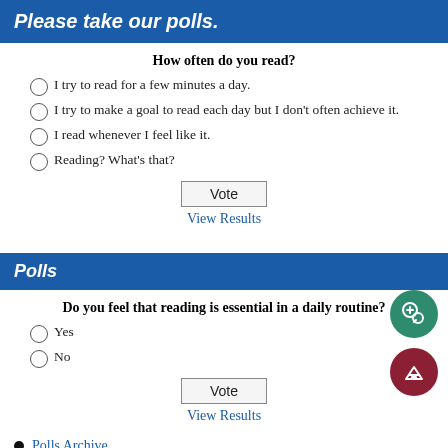Please take our polls.
How often do you read?
I try to read for a few minutes a day.
I try to make a goal to read each day but I don't often achieve it.
I read whenever I feel like it.
Reading? What's that?
Vote
View Results
Polls
Do you feel that reading is essential in a daily routine?
Yes
No
Vote
View Results
Polls Archive